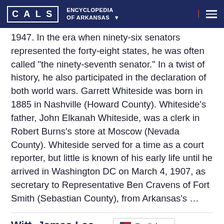CALS ENCYCLOPEDIA OF ARKANSAS
1947. In the era when ninety-six senators represented the forty-eight states, he was often called “the ninety-seventh senator.” In a twist of history, he also participated in the declaration of both world wars. Garrett Whiteside was born in 1885 in Nashville (Howard County). Whiteside’s father, John Elkanah Whiteside, was a clerk in Robert Burns’s store at Moscow (Nevada County). Whiteside served for a time as a court reporter, but little is known of his early life until he arrived in Washington DC on March 4, 1907, as secretary to Representative Ben Cravens of Fort Smith (Sebastian County), from Arkansas’s …
Witt, James Lee